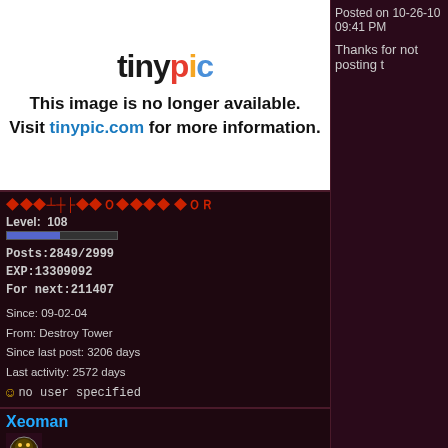[Figure (screenshot): Tinypic placeholder image: logo and 'This image is no longer available. Visit tinypic.com for more information.']
Level: 108
Posts:2849/2999
EXP:13309092
For next:211407
Since: 09-02-04
From: Destroy Tower
Since last post: 3206 days
Last activity: 2572 days
no user specified
Xeoman
Ball and Chain Trooper
Administrator
Level: 194
Posts:11746
EXP:103313931
For next:229163
Since: 08-14-04
From: 755
Posted on 10-26-10 09:41 PM
Thanks for not posting t